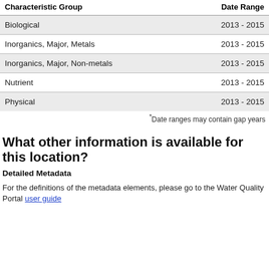| Characteristic Group | Date Range |
| --- | --- |
| Biological | 2013 - 2015 |
| Inorganics, Major, Metals | 2013 - 2015 |
| Inorganics, Major, Non-metals | 2013 - 2015 |
| Nutrient | 2013 - 2015 |
| Physical | 2013 - 2015 |
*Date ranges may contain gap years
What other information is available for this location?
Detailed Metadata
For the definitions of the metadata elements, please go to the Water Quality Portal user guide